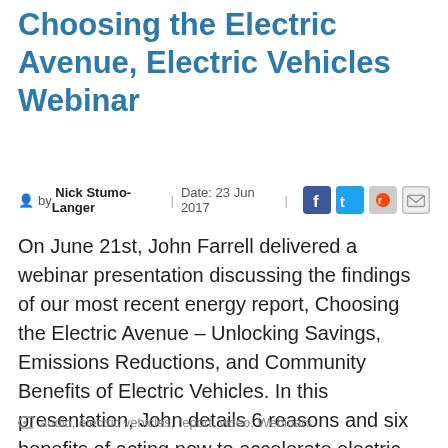Choosing the Electric Avenue, Electric Vehicles Webinar
by Nick Stumo-Langer | Date: 23 Jun 2017 |
On June 21st, John Farrell delivered a webinar presentation discussing the findings of our most recent energy report, Choosing the Electric Avenue – Unlocking Savings, Emissions Reductions, and Community Benefits of Electric Vehicles. In this presentation, John details 6 reasons and six benefits of acting now to accelerate electric vehicle adoption, and two easy ways we can. … Read More
audio, electric vehicles, report, video, Webinars